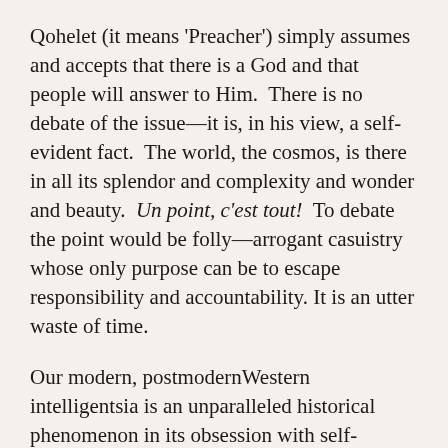Qohelet (it means 'Preacher') simply assumes and accepts that there is a God and that people will answer to Him.  There is no debate of the issue—it is, in his view, a self-evident fact.  The world, the cosmos, is there in all its splendor and complexity and wonder and beauty.  Un point, c'est tout!  To debate the point would be folly—arrogant casuistry whose only purpose can be to escape responsibility and accountability. It is an utter waste of time.
Our modern, postmodernWestern intelligentsia is an unparalleled historical phenomenon in its obsession with self-criticism and its renunciation of the foundations which made it.  Despite our self-flagellation over the sins of our Fathers, we cannot escape our past or its legacy.  As Ellul points out in our opening citation, the Western intellectual elite